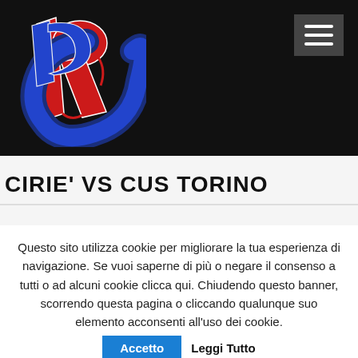[Figure (logo): PC baseball/softball club logo with interlocked letters P and C in red and blue on a black background, with a hamburger menu button in the top right]
CIRIE' VS CUS TORINO
Questo sito utilizza cookie per migliorare la tua esperienza di navigazione. Se vuoi saperne di più o negare il consenso a tutti o ad alcuni cookie clicca qui. Chiudendo questo banner, scorrendo questa pagina o cliccando qualunque suo elemento acconsenti all'uso dei cookie. Accetto Leggi Tutto